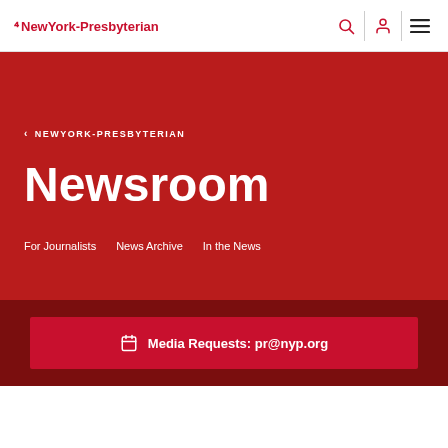NewYork-Presbyterian
< NEWYORK-PRESBYTERIAN
Newsroom
For Journalists   News Archive   In the News
Media Requests: pr@nyp.org
Protect Yourself and Your